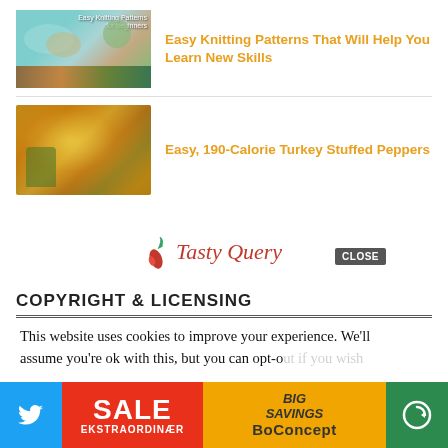[Figure (photo): Knitting yarns and knitted items in a basket with teal and colorful yarn balls]
Easy Knitting Patterns That Will Help You Learn New Skills
[Figure (photo): Cheesy turkey stuffed peppers in a green dish]
Easy, 190-Calorie Turkey Stuffed Peppers
[Figure (logo): Tasty Query logo with chili pepper icon and cursive red text]
COPYRIGHT & LICENSING
This website uses cookies to improve your experience. We'll assume you're ok with this, but you can opt-out if you wish.
[Figure (infographic): Bottom advertisement bar with Twitter icon, SALE EKSTRAORDINÆR text, BIG SAVINGS, BoConcept brand, and close button]